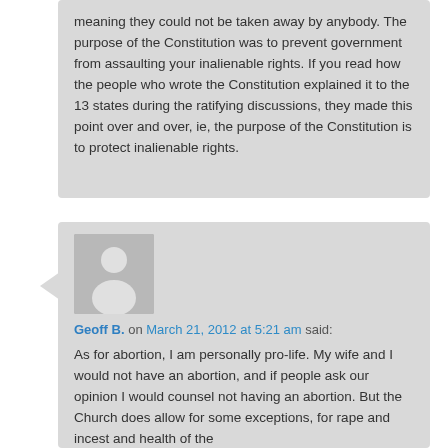meaning they could not be taken away by anybody. The purpose of the Constitution was to prevent government from assaulting your inalienable rights. If you read how the people who wrote the Constitution explained it to the 13 states during the ratifying discussions, they made this point over and over, ie, the purpose of the Constitution is to protect inalienable rights.
Geoff B. on March 21, 2012 at 5:21 am said:
As for abortion, I am personally pro-life. My wife and I would not have an abortion, and if people ask our opinion I would counsel not having an abortion. But the Church does allow for some exceptions, for rape and incest and health of the